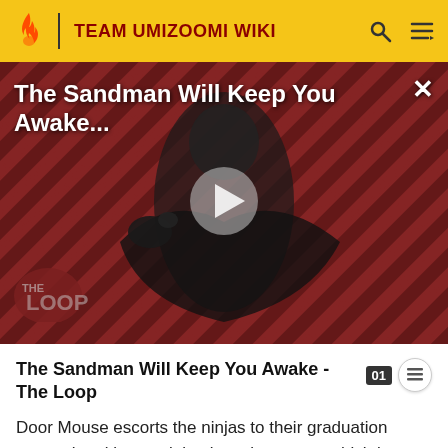TEAM UMIZOOMI WIKI
[Figure (screenshot): Video thumbnail for 'The Sandman Will Keep You Awake - The Loop' showing a dark-cloaked figure against a red/black diagonal striped background, with a play button overlay and 'THE LOOP' logo at the bottom left. Title text appears at top left: 'The Sandman Will Keep You Awake...' with a close X button at top right.]
The Sandman Will Keep You Awake - The Loop
Door Mouse escorts the ninjas to their graduation exam, the ultimate ninja obstacle course, which is made-up of swinging logs, wind fans, and poles. They just have to